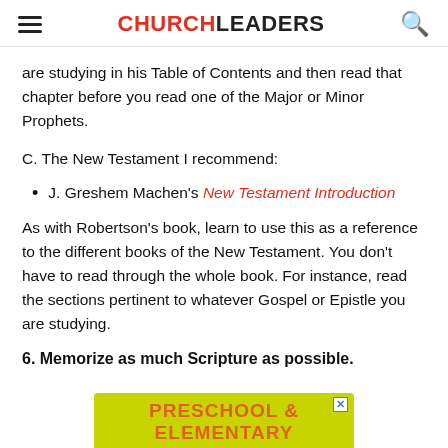CHURCHLEADERS
are studying in his Table of Contents and then read that chapter before you read one of the Major or Minor Prophets.
C. The New Testament I recommend:
J. Greshem Machen's New Testament Introduction
As with Robertson's book, learn to use this as a reference to the different books of the New Testament. You don't have to read through the whole book. For instance, read the sections pertinent to whatever Gospel or Epistle you are studying.
6. Memorize as much Scripture as possible.
[Figure (other): Advertisement banner for Preschool & Elementary]